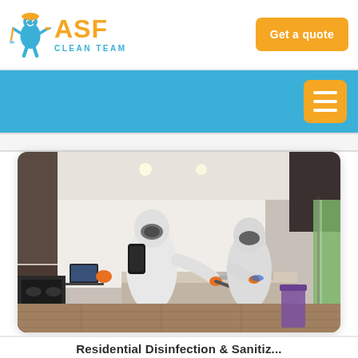[Figure (logo): ASF Clean Team logo — blue cartoon cleaning figure icon with orange hard hat, orange 'ASF' text, blue 'CLEAN TEAM' text below]
Get a quote
[Figure (screenshot): Website screenshot showing ASF Clean Team header with logo and Get a quote button, blue navigation bar with orange hamburger menu button]
[Figure (photo): Two workers in full white hazmat suits and orange gloves performing disinfection/cleaning in a modern kitchen with dark wood cabinets. One worker is spraying a surface, another is wiping the countertop. A laptop is visible on the counter in the background.]
Residential Disinfection & Sanitiz...